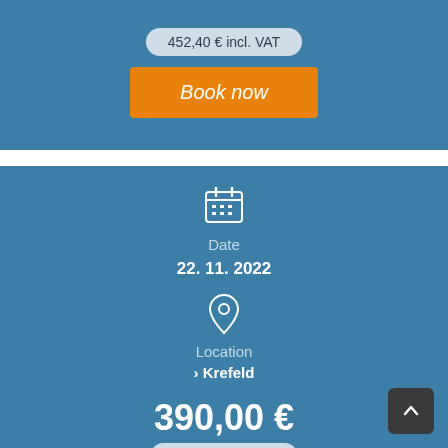452,40 € incl. VAT
Book now
[Figure (illustration): Calendar icon in white outline style]
Date
22. 11. 2022
[Figure (illustration): Location pin icon in white outline style]
Location
› Krefeld
390,00 €
452,40 € incl. VAT